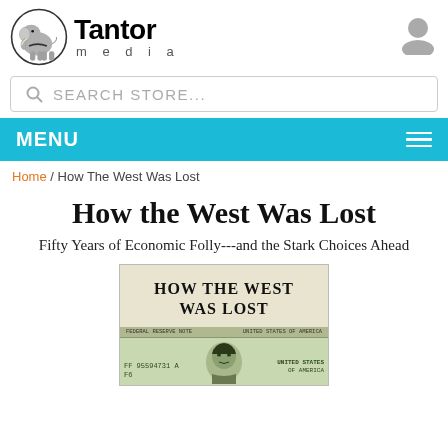[Figure (logo): Tantor Media logo with elephant in circle and brand name]
SEARCH STORE...
MENU
Home / How The West Was Lost
How the West Was Lost
Fifty Years of Economic Folly---and the Stark Choices Ahead
[Figure (photo): Book cover of How The West Was Lost showing a modified US dollar bill with HOW THE WEST WAS LOST title and an Asian face on the bill]